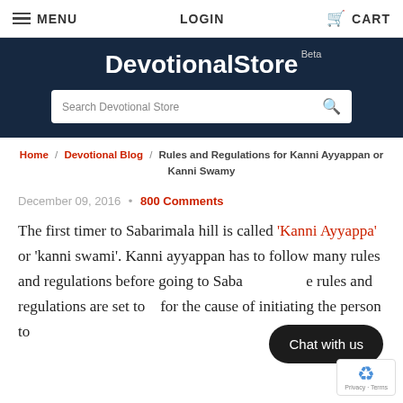MENU   LOGIN   CART
[Figure (screenshot): DevotionalStore website header with logo and search bar]
Home / Devotional Blog / Rules and Regulations for Kanni Ayyappan or Kanni Swamy
December 09, 2016 • 800 Comments
The first timer to Sabarimala hill is called 'Kanni Ayyappa' or 'kanni swami'. Kanni ayyappan has to follow many rules and regulations before going to Sabarimala. The rules and regulations are set to... for the cause of initiating the person to